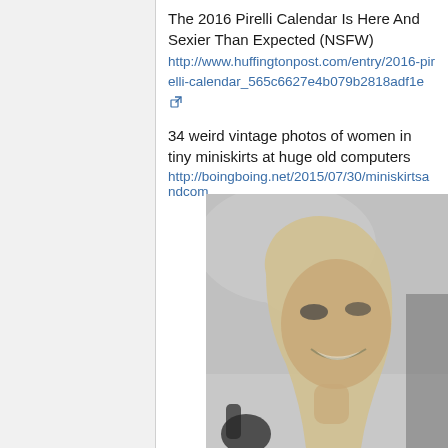The 2016 Pirelli Calendar Is Here And Sexier Than Expected (NSFW)
http://www.huffingtonpost.com/entry/2016-pirelli-calendar_565c6627e4b079b2818adf1e
34 weird vintage photos of women in tiny miniskirts at huge old computers
http://boingboing.net/2015/07/30/miniskirtsandcom...
[Figure (photo): Black and white close-up photo of a smiling woman with blonde hair, vintage style, with a lamp and objects in the background]